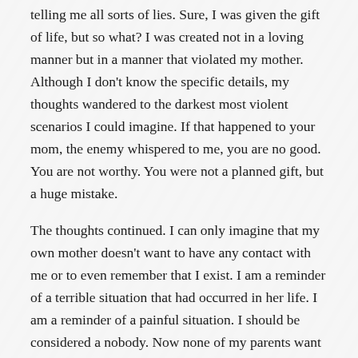telling me all sorts of lies. Sure, I was given the gift of life, but so what? I was created not in a loving manner but in a manner that violated my mother. Although I don't know the specific details, my thoughts wandered to the darkest most violent scenarios I could imagine. If that happened to your mom, the enemy whispered to me, you are no good. You are not worthy. You were not a planned gift, but a huge mistake.
The thoughts continued. I can only imagine that my own mother doesn't want to have any contact with me or to even remember that I exist. I am a reminder of a terrible situation that had occurred in her life. I am a reminder of a painful situation. I should be considered a nobody. Now none of my parents want anything to do with me. I am a failure. I am not worthy.
But, how could have I forgotten my creator? My loving